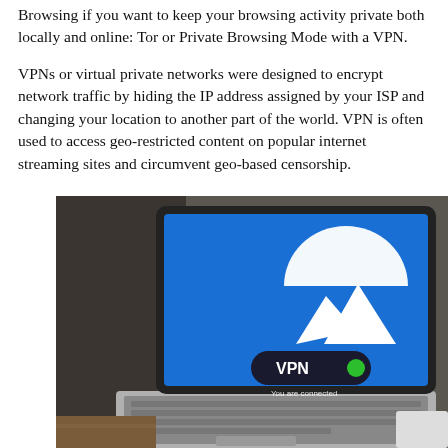Browsing if you want to keep your browsing activity private both locally and online: Tor or Private Browsing Mode with a VPN.
VPNs or virtual private networks were designed to encrypt network traffic by hiding the IP address assigned by your ISP and changing your location to another part of the world. VPN is often used to access geo-restricted content on popular internet streaming sites and circumvent geo-based censorship.
[Figure (photo): Photo of a laptop with a blue screen showing a VPN application logo (white shield/mountain icon on blue background) and a button reading 'VPN' with a green connected indicator dot and text 'You are connected' below it.]